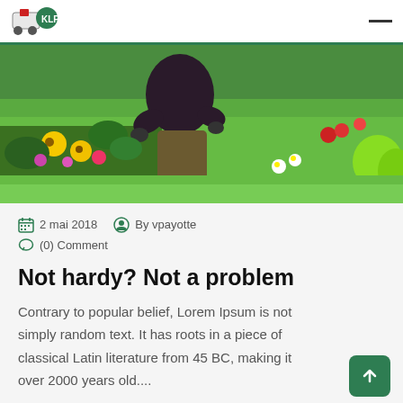KLP logo and hamburger menu
[Figure (photo): Person kneeling in a colorful flower garden with green lawn in background, tending to plants including yellow flowers and mixed perennials]
2 mai 2018   By vpayotte
(0) Comment
Not hardy? Not a problem
Contrary to popular belief, Lorem Ipsum is not simply random text. It has roots in a piece of classical Latin literature from 45 BC, making it over 2000 years old....